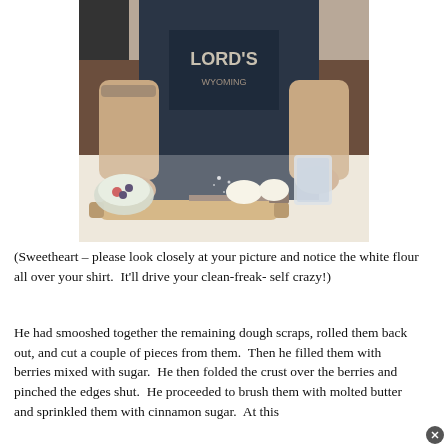[Figure (photo): A person wearing a dark 'Lord's' graphic t-shirt stands at a kitchen counter dusting flour. On the counter are dough pieces, a rolling pin, a knife, and a bowl with berries.]
(Sweetheart – please look closely at your picture and notice the white flour all over your shirt.  It'll drive your clean-freak- self crazy!)
He had smooshed together the remaining dough scraps, rolled them back out, and cut a couple of pieces from them.  Then he filled them with berries mixed with sugar.  He then folded the crust over the berries and pinched the edges shut.  He proceeded to brush them with molted butter and sprinkled them with cinnamon sugar.  At this